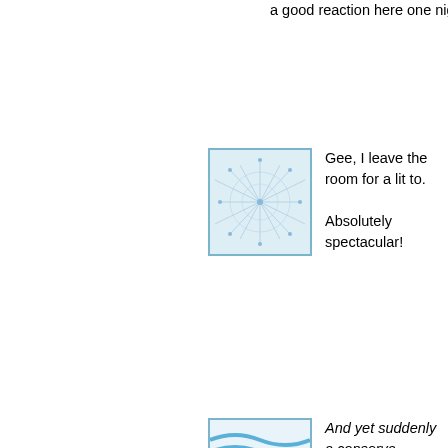a good reaction here one nig
[Figure (illustration): Avatar thumbnail: abstract blue neural/web pattern on light background]
Gee, I leave the room for a lit to.

Absolutely spectacular!
[Figure (illustration): Avatar thumbnail: blue wavy horizontal lines pattern]
And yet suddenly a conserva president is getting too much popularity artificially.

Nonsense. York is not assign group over another's. He is m ratings of one segment of the writing about the same figure out the same thing. It's called

To look at it another way, if yo class, and 10% of the class s 90% scored between 50 and aced the test as a group? An